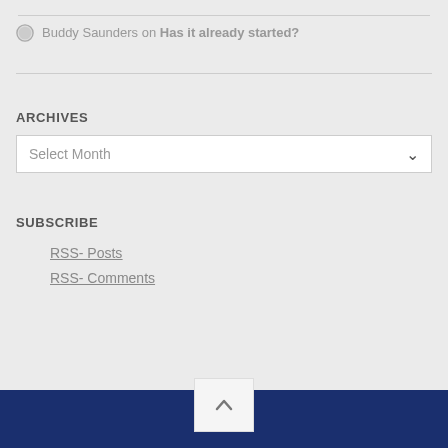Buddy Saunders on Has it already started?
ARCHIVES
Select Month
SUBSCRIBE
RSS- Posts
RSS- Comments